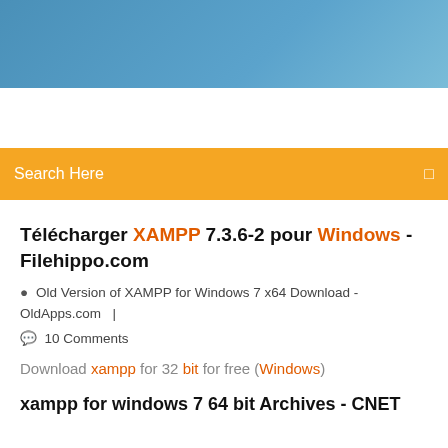[Figure (photo): Blue sky gradient banner at the top of a webpage screenshot]
Search Here
Télécharger XAMPP 7.3.6-2 pour Windows - Filehippo.com
Old Version of XAMPP for Windows 7 x64 Download - OldApps.com  |
10 Comments
Download xampp for 32 bit for free (Windows)
xampp for windows 7 64 bit Archives - CNET